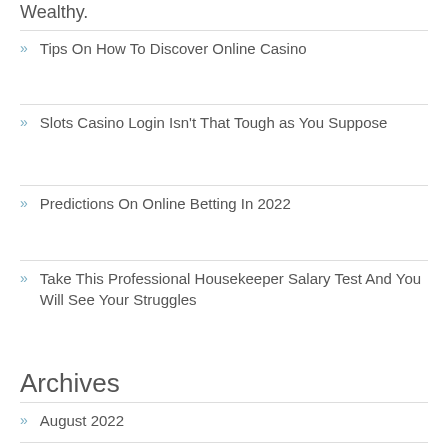Wealthy.
Tips On How To Discover Online Casino
Slots Casino Login Isn't That Tough as You Suppose
Predictions On Online Betting In 2022
Take This Professional Housekeeper Salary Test And You Will See Your Struggles
Archives
August 2022